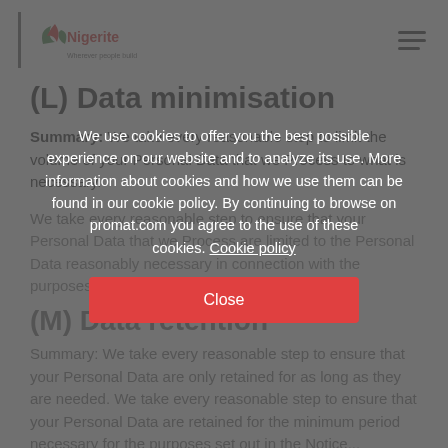Nigerite — Wherever people build
(L) Data minimisation
Summary: We take every reasonable step to limit the volume of your Personal Data that we Process to what is necessary.
We take every reasonable step to ensure that your Personal Data that we Process are limited to the Personal Data reasonably necessary in connection with the purposes and to...
(M) Data retention
Summary: We take every reasonable step to ensure that your Personal Data are only retained for as long as they are needed. We take every reasonable step to ensure that your Personal Data are retained for the minimum period necessary for the purposes set out in the Notice...
We use cookies to offer you the best possible experience on our website and to analyze its use. More information about cookies and how we use them can be found in our cookie policy. By continuing to browse on promat.com you agree to the use of these cookies. Cookie policy